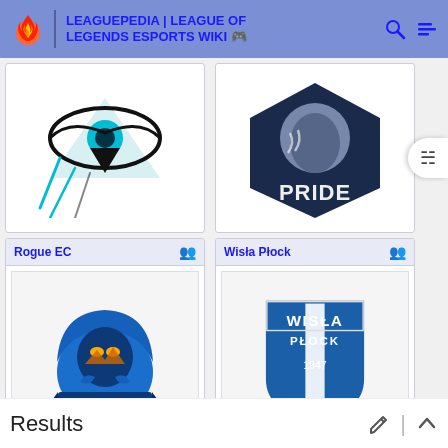LEAGUEPEDIA | LEAGUE OF LEGENDS ESPORTS WIKI
[Figure (logo): Partially visible esports team logo (eye/hawk design, top-left card)]
[Figure (logo): Partially visible esports team logo (PRIDE, top-right card)]
Rogue EC
[Figure (logo): Rogue EC esports team logo — hooded figure mascot in blue]
Wisła Płock
[Figure (logo): Wisła Płock eSports logo — blue shield with WISŁA PŁOCK 1947 eSports]
Results